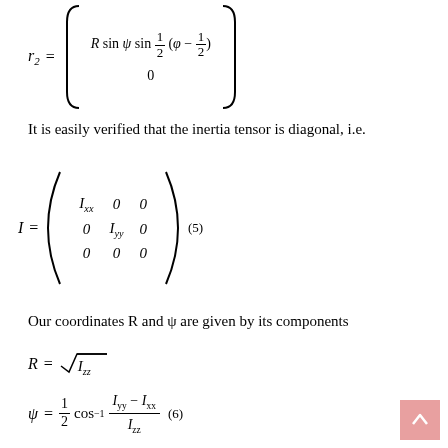It is easily verified that the inertia tensor is diagonal, i.e.
Our coordinates R and ψ are given by its components